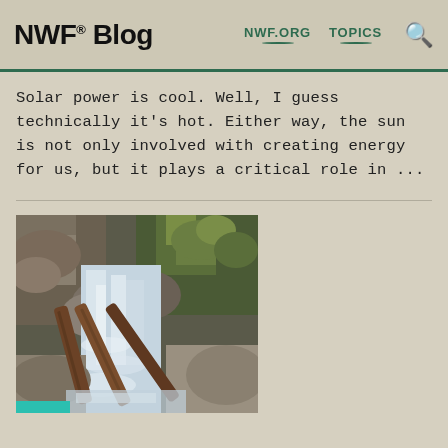NWF® Blog  NWF.ORG  TOPICS
Solar power is cool. Well, I guess technically it's hot. Either way, the sun is not only involved with creating energy for us, but it plays a critical role in ...
[Figure (photo): A rushing waterfall cascading over rocks with fallen logs in the foreground and green moss-covered boulders in the background. A teal/turquoise bar is visible at the bottom left corner of the image.]